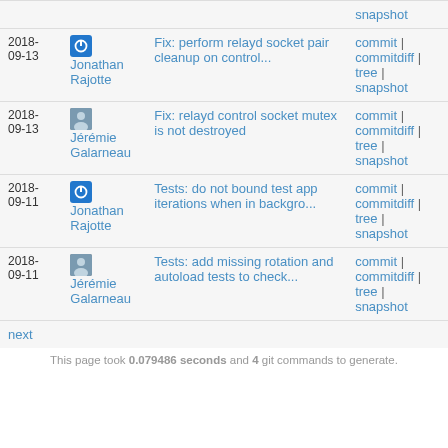| Date | Author | Commit message | Actions |
| --- | --- | --- | --- |
|  |  | snapshot |  |
| 2018-09-13 | Jonathan Rajotte | Fix: perform relayd socket pair cleanup on control... | commit | commitdiff | tree | snapshot |
| 2018-09-13 | Jérémie Galarneau | Fix: relayd control socket mutex is not destroyed | commit | commitdiff | tree | snapshot |
| 2018-09-11 | Jonathan Rajotte | Tests: do not bound test app iterations when in backgro... | commit | commitdiff | tree | snapshot |
| 2018-09-11 | Jérémie Galarneau | Tests: add missing rotation and autoload tests to check... | commit | commitdiff | tree | snapshot |
next
This page took 0.079486 seconds and 4 git commands to generate.